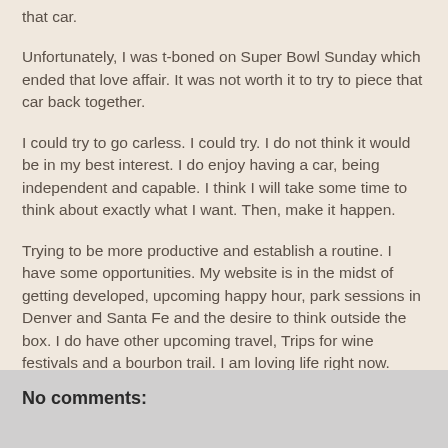that car.
Unfortunately, I was t-boned on Super Bowl Sunday which ended that love affair.  It was not worth it to try to piece that car back together.
I could try to go carless.  I could try.  I do not think it would be in my best interest.  I do enjoy having a car, being independent and capable.  I think I will take some time to think about exactly what I want.  Then, make it happen.
Trying to be more productive and establish a routine.  I have some opportunities.  My website is in the midst of getting developed, upcoming happy hour, park sessions in Denver and Santa Fe and the desire to think outside the box.  I do have other upcoming travel,  Trips for wine festivals and a bourbon trail.  I am loving life right now.  Maybe I can squeeze in a few more trips.
harmony at 2:10 PM
No comments: